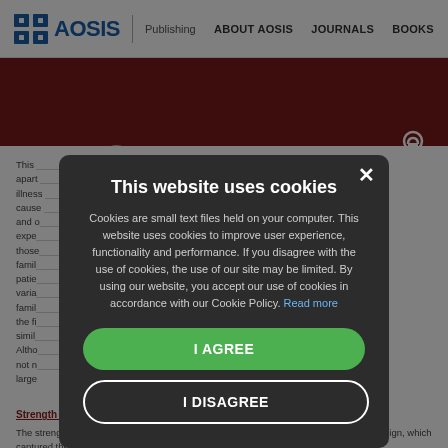AOSIS Publishing | ABOUT AOSIS | JOURNALS | BOOKS
[Figure (screenshot): PHOEM journal header bar with red background and Open Access logo, showing partial journal title text and 'Y HEALTH']
This ... apart ... illness ... cause ... ves and o... the expe... those... famil... s of patie... ble varia... the famil... in the fi... simil... Altho... ay not n... large
[Figure (screenshot): Cookie consent modal dialog with dark background, title 'This website uses cookies', body text about cookies policy, 'I AGREE' green button, and 'I DISAGREE' outlined button, with X close button]
Strength and limitations
The strength of this study lies in the fact that it was conducted using an ethnographic design, which captured the participants' experiences in their